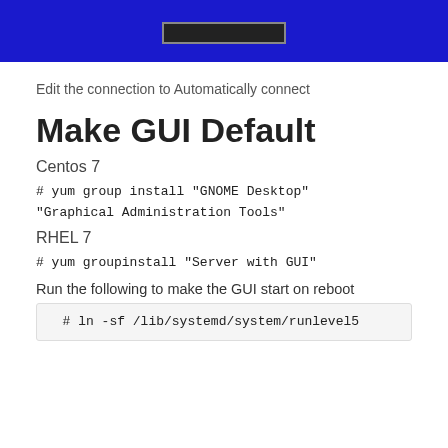[Figure (screenshot): Blue banner with dark horizontal bar element in the center]
Edit the connection to Automatically connect
Make GUI Default
Centos 7
# yum group install "GNOME Desktop" "Graphical Administration Tools"
RHEL 7
# yum groupinstall "Server with GUI"
Run the following to make the GUI start on reboot
# ln -sf /lib/systemd/system/runlevel5